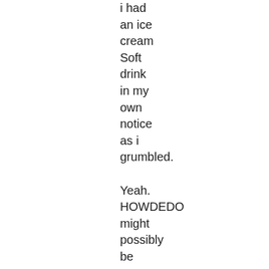i had an ice cream Soft drink in my own notice as i grumbled.

Yeah. HOWDEDO might possibly be correct due to the fact rain (and you can inferable out of